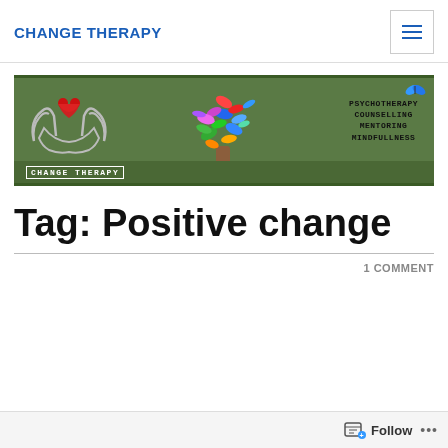CHANGE THERAPY
[Figure (logo): Change Therapy banner with hands holding heart, colorful butterfly tree, and text PSYCHOTHERAPY COUNSELLING MENTORING MINDFULLNESS on green background]
Tag: Positive change
1 COMMENT
Follow